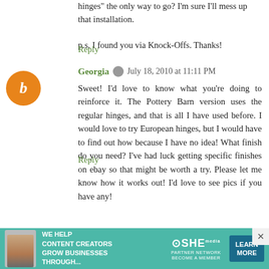hinges" the only way to go? I'm sure I'll mess up that installation.
p.s. I found you via Knock-Offs. Thanks!
Reply
Georgia  July 18, 2010 at 11:11 PM
Sweet! I'd love to know what you're doing to reinforce it. The Pottery Barn version uses the regular hinges, and that is all I have used before. I would love to try European hinges, but I would have to find out how because I have no idea! What finish do you need? I've had luck getting specific finishes on ebay so that might be worth a try. Please let me know how it works out! I'd love to see pics if you have any!
Reply
ice cream  July 28, 2010 at 12:57 AM
[Figure (infographic): Advertisement banner: SHE Media Partner Network - We Help Content Creators Grow Businesses Through... Learn More]